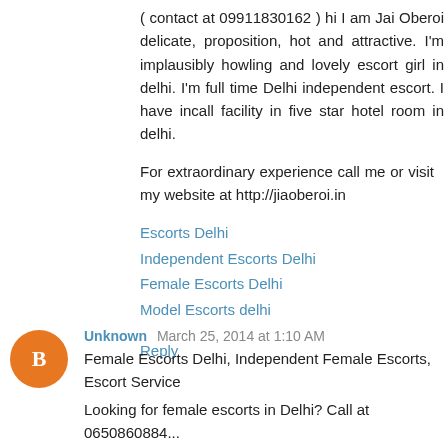( contact at 09911830162 ) hi I am Jai Oberoi delicate, proposition, hot and attractive. I'm implausibly howling and lovely escort girl in delhi. I'm full time Delhi independent escort. I have incall facility in five star hotel room in delhi.
For extraordinary experience call me or visit my website at http://jiaoberoi.in
Escorts Delhi
Independent Escorts Delhi
Female Escorts Delhi
Model Escorts delhi
Reply
Unknown  March 25, 2014 at 1:10 AM
Female Escorts Delhi, Independent Female Escorts, Escort Service
Looking for female escorts in Delhi? Call at 0650860884...